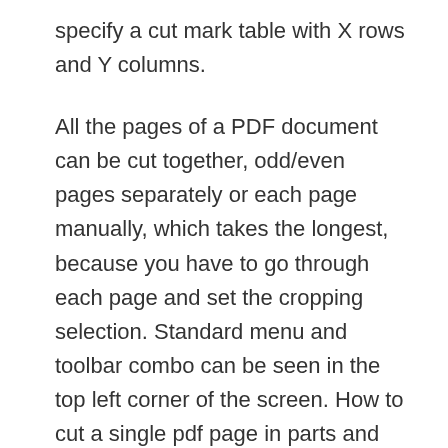specify a cut mark table with X rows and Y columns.
All the pages of a PDF document can be cut together, odd/even pages separately or each page manually, which takes the longest, because you have to go through each page and set the cropping selection. Standard menu and toolbar combo can be seen in the top left corner of the screen. How to cut a single pdf page in parts and save each part as images. Ask Question 0. I have a pdf with 10 question in it and now I want to create separate images of fix size for each question saved in a separate folder. How to do it automatically. adobe-photoshop photoshop-scripting. share improve this question. edited Jul 27 '14 at 13:12. JohnB. 18.5k 7 66 126. asked Jul 27 '14 at 13:09
How to cut a single pdf page in parts and save each part as images. Ask Question 0. I have a pdf with 10 question in it and